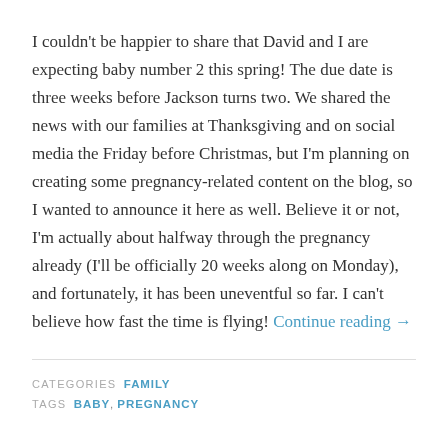I couldn't be happier to share that David and I are expecting baby number 2 this spring! The due date is three weeks before Jackson turns two. We shared the news with our families at Thanksgiving and on social media the Friday before Christmas, but I'm planning on creating some pregnancy-related content on the blog, so I wanted to announce it here as well. Believe it or not, I'm actually about halfway through the pregnancy already (I'll be officially 20 weeks along on Monday), and fortunately, it has been uneventful so far. I can't believe how fast the time is flying! Continue reading →
CATEGORIES FAMILY
TAGS BABY, PREGNANCY